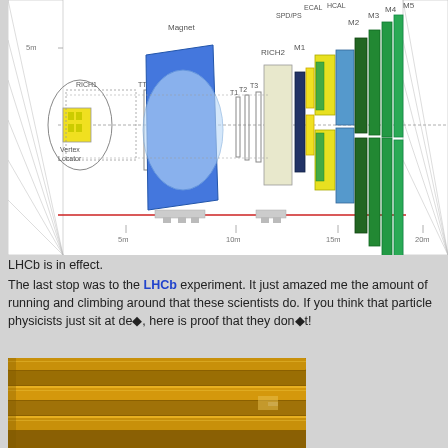[Figure (engineering-diagram): LHCb detector schematic cross-section showing components: Vertex Locator, RICH1, TT, Magnet (blue), T1-T3 tracking stations, RICH2, M1, SPD/PS, ECAL, HCAL, M2-M5 muon stations. Scale markers at 5m, 10m, 15m, 20m along bottom axis and 5m on vertical axis.]
LHCb is in effect.
The last stop was to the LHCb experiment. It just amazed me the amount of running and climbing around that these scientists do. If you think that particle physicists just sit at desks, here is proof that they don●t!
[Figure (photo): Close-up photograph of golden/orange metallic detector components, likely tracker or calorimeter modules stacked in layers.]